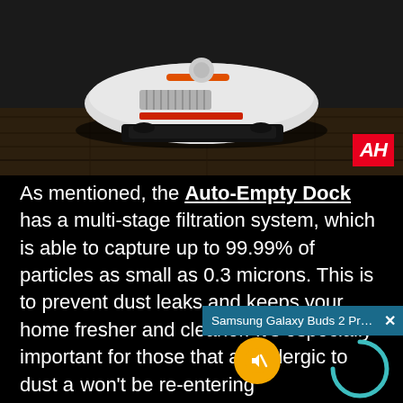[Figure (photo): Robot vacuum cleaner (white/gray circular Roborock device) sitting on a dark wooden floor, photographed from a low angle. AH logo in red in the bottom right corner of the image.]
As mentioned, the Auto-Empty Dock has a multi-stage filtration system, which is able to capture up to 99.99% of particles as small as 0.3 microns. This is to prevent dust leaks and keeps your home fresher and cleaner. It's especially important for those that are allergic to dust ar[nd won't be re-entering t[he air].
Finally, Roborock has algorithms in the doc[k] based on use, includi[ng] and duration of the c[leaning].
[Figure (screenshot): A browser notification bar overlay showing 'Samsung Galaxy Buds 2 Pro review | Gr...' with a close (X) button, a yellow muted speaker button, and a teal loading spinner arc.]